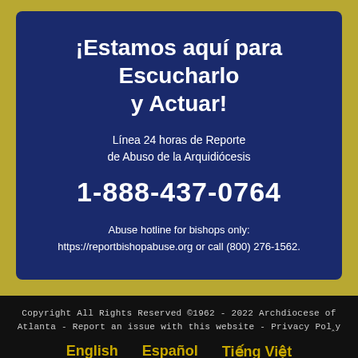¡Estamos aquí para Escucharlo y Actuar!
Línea 24 horas de Reporte de Abuso de la Arquidiócesis
1-888-437-0764
Abuse hotline for bishops only: https://reportbishopabuse.org or call (800) 276-1562.
Copyright All Rights Reserved ©1962 - 2022 Archdiocese of Atlanta - Report an issue with this website - Privacy Policy
English   Español   Tiếng Việt